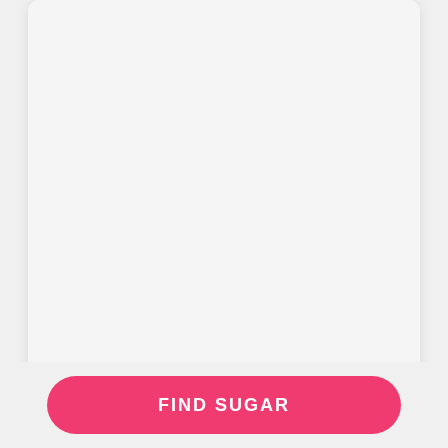[Figure (photo): Profile card photo area (blank/white) for Eunice McCoy]
EUNICE MCCOY
SUGAR BABY
Vancouver
21 AGE
9.4 RATING
73%
FIND SUGAR